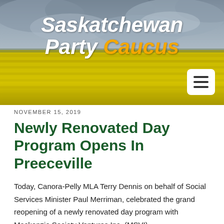[Figure (photo): Header banner with Saskatchewan canola field landscape under cloudy sky, with Saskatchewan Party Caucus logo text overlay]
Saskatchewan Party Caucus
NOVEMBER 15, 2019
Newly Renovated Day Program Opens In Preeceville
Today, Canora-Pelly MLA Terry Dennis on behalf of Social Services Minister Paul Merriman, celebrated the grand reopening of a newly renovated day program with Mackenzie Society Ventures Inc. (MSVI).